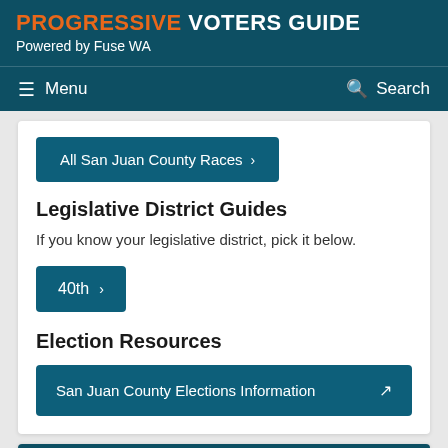PROGRESSIVE VOTERS GUIDE Powered by Fuse WA
Menu   Search
All San Juan County Races >
Legislative District Guides
If you know your legislative district, pick it below.
40th >
Election Resources
San Juan County Elections Information [external link]
Skagit County